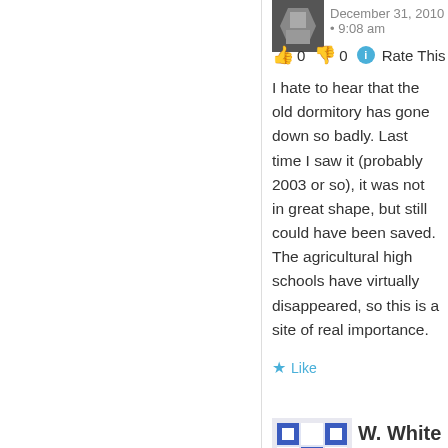December 31, 2010 • 9:08 am
👍 0 👎 0 ℹ Rate This
I hate to hear that the old dormitory has gone down so badly. Last time I saw it (probably 2003 or so), it was not in great shape, but still could have been saved. The agricultural high schools have virtually disappeared, so this is a site of real importance.
★ Like
W. White
December 31, 2010 • 3:10 am
👍 6 👎 4 ℹ Rate This
Oakland Normal Institute, in extreme rural Itawamba County. Narrow roads winding miles away from the highway leading to a white frame structure and a monument to the school's founders, placed there by grateful